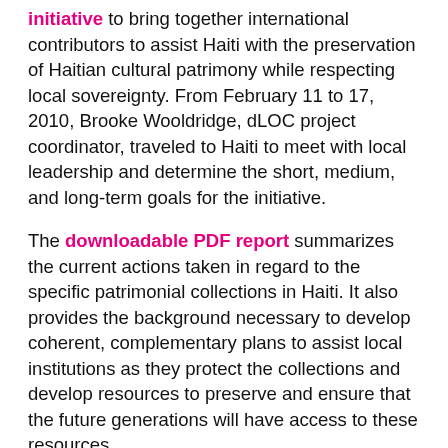initiative to bring together international contributors to assist Haiti with the preservation of Haitian cultural patrimony while respecting local sovereignty. From February 11 to 17, 2010, Brooke Wooldridge, dLOC project coordinator, traveled to Haiti to meet with local leadership and determine the short, medium, and long-term goals for the initiative.
The downloadable PDF report summarizes the current actions taken in regard to the specific patrimonial collections in Haiti. It also provides the background necessary to develop coherent, complementary plans to assist local institutions as they protect the collections and develop resources to preserve and ensure that the future generations will have access to these resources.
Filed under: Advocacy — Tags: Advocacy Resources, Conservation, Public Spaces, and